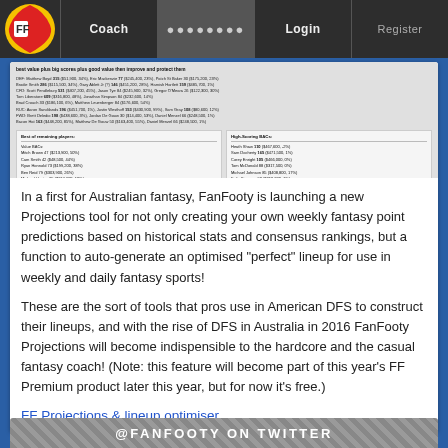FF Coach | ●●●●●●●● | Login | Register
[Figure (screenshot): Screenshot of FanFooty projections tool showing player stats tables with columns for best value plus big scores plus good value then improve and protect them, and a best of remaining players table]
In a first for Australian fantasy, FanFooty is launching a new Projections tool for not only creating your own weekly fantasy point predictions based on historical stats and consensus rankings, but a function to auto-generate an optimised "perfect" lineup for use in weekly and daily fantasy sports!
These are the sort of tools that pros use in American DFS to construct their lineups, and with the rise of DFS in Australia in 2016 FanFooty Projections will become indispensible to the hardcore and the casual fantasy coach! (Note: this feature will become part of this year's FF Premium product later this year, but for now it's free.)
FF Projections & lineup optimiser
@FANFOOTY ON TWITTER